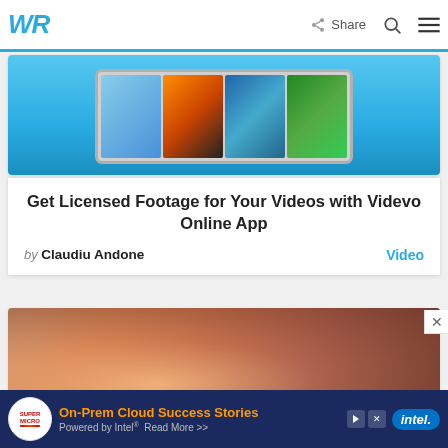WR | Share [search] [menu]
[Figure (screenshot): Article card with tablet showing video thumbnails on a blue background — Videvo app screenshot]
Get Licensed Footage for Your Videos with Videvo Online App
by Claudiu Andone   Video
[Figure (photo): Blurred photo of hands using a smartphone/laptop, warm tones]
[Figure (other): Ad banner: Supermicro — On-Prem Cloud Success Stories, Powered by Intel, Read More >> | Intel logo]